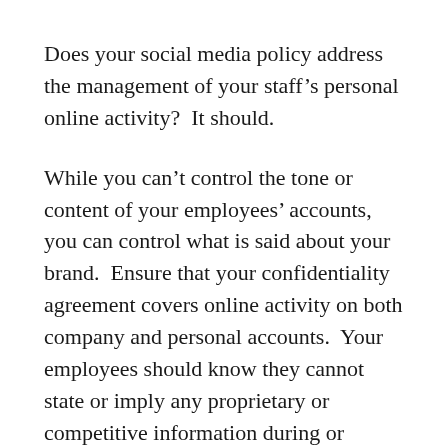Does your social media policy address the management of your staff's personal online activity?  It should.
While you can't control the tone or content of your employees' accounts, you can control what is said about your brand.  Ensure that your confidentiality agreement covers online activity on both company and personal accounts.  Your employees should know they cannot state or imply any proprietary or competitive information during or following employment to anyone, any way, anywhere